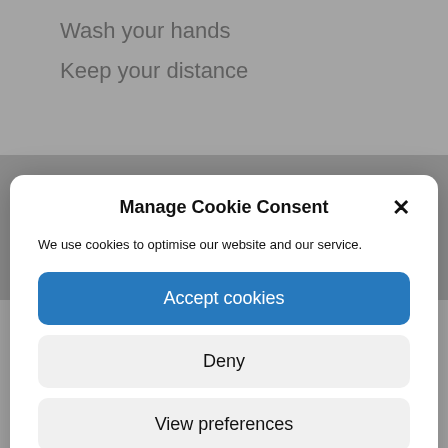Wash your hands
Keep your distance
Manage Cookie Consent
We use cookies to optimise our website and our service.
Accept cookies
Deny
View preferences
Cookie Policy